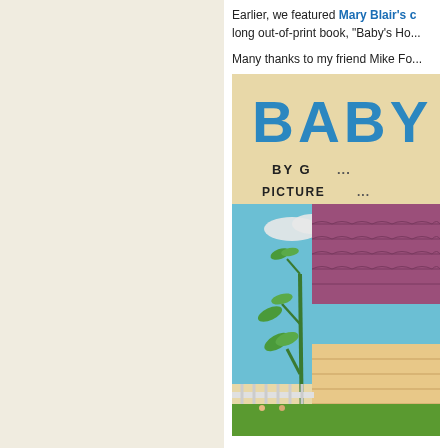[Figure (illustration): Left half: repeating decorative pattern of stylized globe/circle shapes with horizontal bars on a cream/beige background, in muted blue-gray tones.]
Earlier, we featured Mary Blair's c... long out-of-print book, "Baby's Ho...
Many thanks to my friend Mike Fo...
[Figure (illustration): Partially visible book cover titled 'BABY' (truncated), 'BY G...' and 'PICTURE...' text, with illustration of a house with red/pink roof, green vine/plant, blue sky with white clouds, and grass at bottom.]